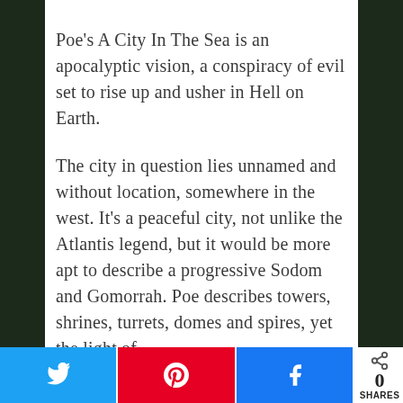Poe's A City In The Sea is an apocalyptic vision, a conspiracy of evil set to rise up and usher in Hell on Earth.
The city in question lies unnamed and without location, somewhere in the west. It's a peaceful city, not unlike the Atlantis legend, but it would be more apt to describe a progressive Sodom and Gomorrah. Poe describes towers, shrines, turrets, domes and spires, yet the light of
Twitter | Pinterest | Facebook | 0 SHARES